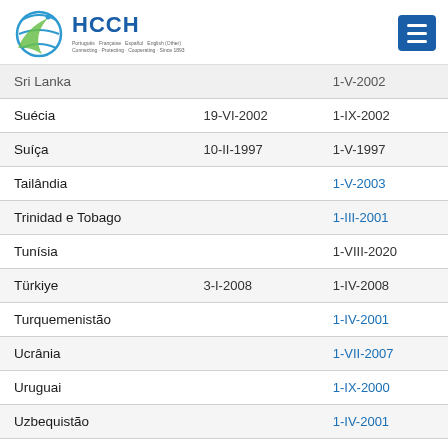HCCH
| País | Assinatura | Entrada em vigor |
| --- | --- | --- |
| Sri Lanka |  | 1-V-2002 |
| Suécia | 19-VI-2002 | 1-IX-2002 |
| Suíça | 10-II-1997 | 1-V-1997 |
| Tailândia |  | 1-V-2003 |
| Trinidad e Tobago |  | 1-III-2001 |
| Tunísia |  | 1-VIII-2020 |
| Türkiye | 3-I-2008 | 1-IV-2008 |
| Turquemenistão |  | 1-IV-2001 |
| Ucrânia |  | 1-VII-2007 |
| Uruguai |  | 1-IX-2000 |
| Uzbequistão |  | 1-IV-2001 |